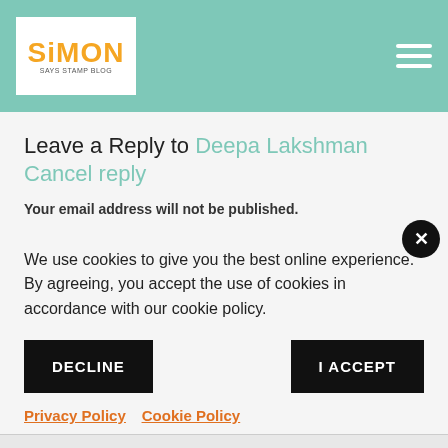[Figure (logo): Simon Says Stamp Blog logo with orange text and teal background header with hamburger menu icon]
Leave a Reply to Deepa Lakshman Cancel reply
Your email address will not be published.
We use cookies to give you the best online experience. By agreeing, you accept the use of cookies in accordance with our cookie policy.
DECLINE
I ACCEPT
Privacy Policy   Cookie Policy